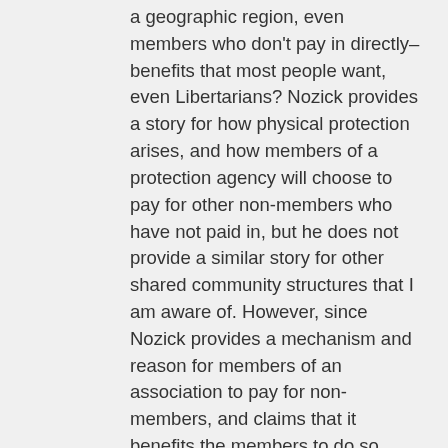a geographic region, even members who don't pay in directly–benefits that most people want, even Libertarians? Nozick provides a story for how physical protection arises, and how members of a protection agency will choose to pay for other non-members who have not paid in, but he does not provide a similar story for other shared community structures that I am aware of. However, since Nozick provides a mechanism and reason for members of an association to pay for non-members, and claims that it benefits the members to do so, then why not extend this reasoning to other community structures? Nozick does not do this, nor does he explain why